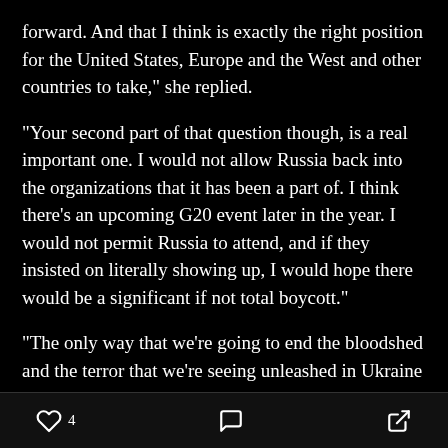forward. And that I think is exactly the right position for the United States, Europe and the West and other countries to take," she replied.
"Your second part of that question though, is a real important one. I would not allow Russia back into the organizations that it has been a part of. I think there's an upcoming G20 event later in the year. I would not permit Russia to attend, and if they insisted on literally showing up, I would hope there would be a significant if not total boycott."
"The only way that we're going to end the bloodshed and the terror that we're seeing unleashed in Ukraine and protect Europe and democracy is to do everything
♡ 4  💬  ↗